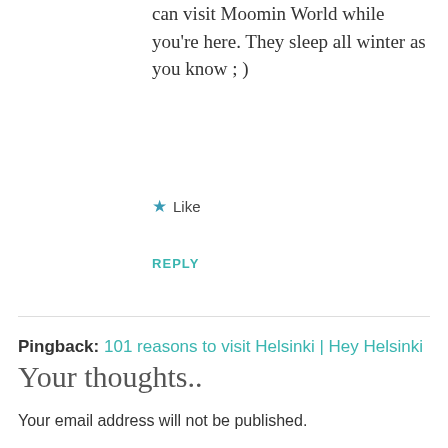can visit Moomin World while you're here. They sleep all winter as you know ; )
★ Like
REPLY
Pingback: 101 reasons to visit Helsinki | Hey Helsinki
Your thoughts..
Your email address will not be published.